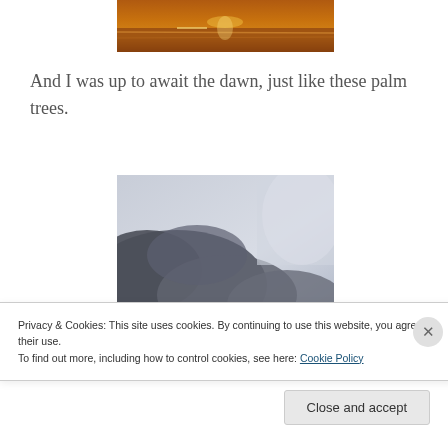[Figure (photo): Sunset over ocean/water with warm orange and golden light reflecting on waves]
And I was up to await the dawn, just like these palm trees.
[Figure (photo): Dark storm clouds against a pale grey-blue sky]
Privacy & Cookies: This site uses cookies. By continuing to use this website, you agree to their use.
To find out more, including how to control cookies, see here: Cookie Policy
Close and accept